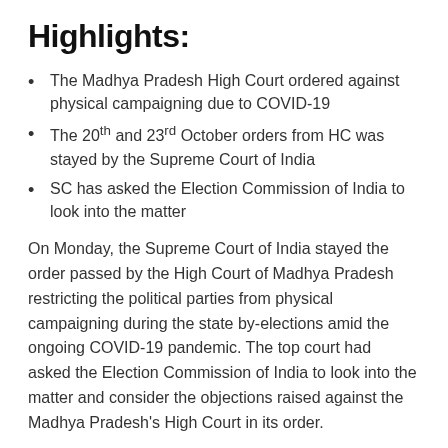Highlights:
The Madhya Pradesh High Court ordered against physical campaigning due to COVID-19
The 20th and 23rd October orders from HC was stayed by the Supreme Court of India
SC has asked the Election Commission of India to look into the matter
On Monday, the Supreme Court of India stayed the order passed by the High Court of Madhya Pradesh restricting the political parties from physical campaigning during the state by-elections amid the ongoing COVID-19 pandemic. The top court had asked the Election Commission of India to look into the matter and consider the objections raised against the Madhya Pradesh’s High Court in its order.